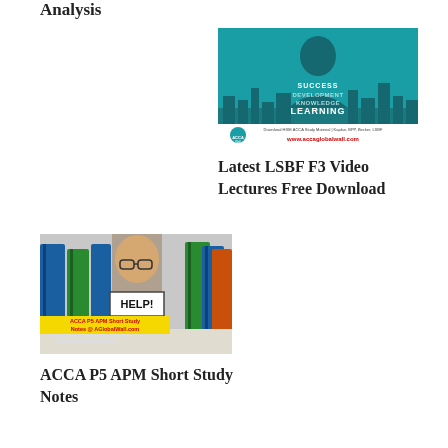Analysis
[Figure (logo): ACCA Global Wall logo with teal background showing silhouette, cityscape, and text: SUCCESS DEVELOPMENT KNOWLEDGE LEARNING. Download HSIE ACCA Study Material | Kaplan, BPP, Becker, LSBF. www.accaglobalwall.com]
Latest LSBF F3 Video Lectures Free Download
[Figure (photo): Person surrounded by stacks of binders holding a HELP! sign with ACCA P5 APM Short Study Notes @ AGlobalWall.com overlay]
ACCA P5 APM Short Study Notes